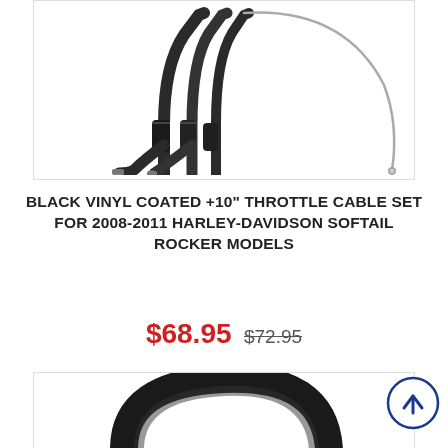[Figure (photo): Black vinyl coated throttle cable set product image showing two cables with chrome ends against white background]
BLACK VINYL COATED +10" THROTTLE CABLE SET FOR 2008-2011 HARLEY-DAVIDSON SOFTAIL ROCKER MODELS
$68.95  $72.95
[Figure (photo): Black vinyl coated cable shown as a loop/coil shape against white background]